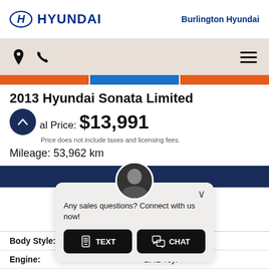[Figure (logo): Hyundai logo (H emblem) and HYUNDAI wordmark in dark blue]
Burlington Hyundai
[Figure (infographic): Navigation bar with location pin icon, phone icon, and hamburger menu icon on beige background]
[Figure (screenshot): Three buttons: orange, blue (Apply), orange]
2013 Hyundai Sonata Limited
Final Price: $13,991
Price does not include taxes and licensing fees.
Mileage: 53,962 km
[Figure (screenshot): Chat widget popup with agent avatar, close button, message 'Any sales questions? Connect with us now!' and TEXT and CHAT buttons]
|  |  |
| --- | --- |
| Body Style: | Sedan |
| Engine: | 2.4L 4cyl |
Any sales questions? Connect with us now!